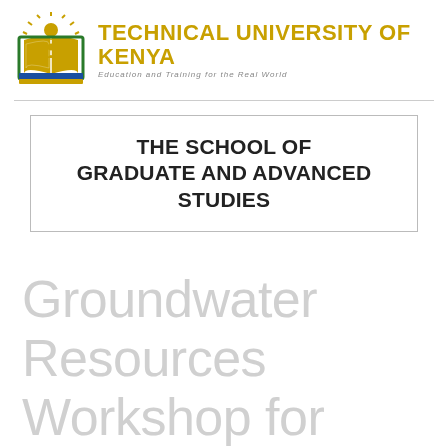[Figure (logo): Technical University of Kenya logo: open book with sun rays above and green/gold/blue coloring, next to bold gold university name and italic tagline]
THE SCHOOL OF GRADUATE AND ADVANCED STUDIES
Groundwater Resources Workshop for Makueni County...